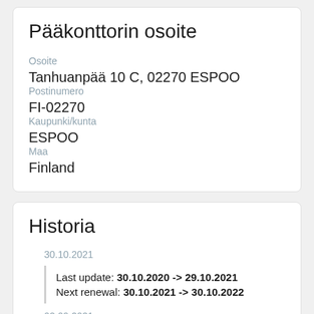Pääkonttorin osoite
Osoite
Tanhuanpää 10 C, 02270 ESPOO
Postinumero
FI-02270
Kaupunki/kunta
ESPOO
Maa
Finland
Historia
30.10.2021
Last update: 30.10.2020 -> 29.10.2021
Next renewal: 30.10.2021 -> 30.10.2022
02.09.2021